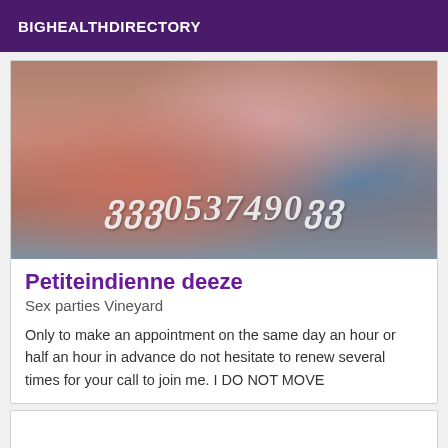BIGHEALTHDIRECTORY
[Figure (photo): Beach photo with person in striped swimwear, with a watermarked phone number overlay in stylized script]
Petiteindienne deeze
Sex parties Vineyard
Only to make an appointment on the same day an hour or half an hour in advance do not hesitate to renew several times for your call to join me. I DO NOT MOVE